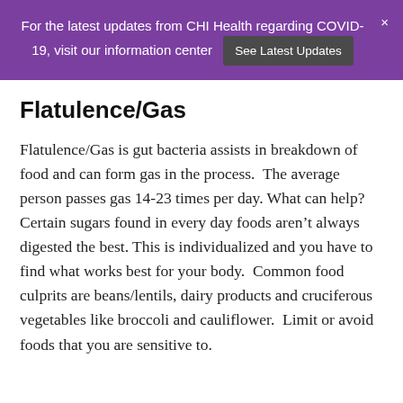For the latest updates from CHI Health regarding COVID-19, visit our information center  See Latest Updates
Flatulence/Gas
Flatulence/Gas is gut bacteria assists in breakdown of food and can form gas in the process.  The average person passes gas 14-23 times per day. What can help? Certain sugars found in every day foods aren't always digested the best. This is individualized and you have to find what works best for your body.  Common food culprits are beans/lentils, dairy products and cruciferous vegetables like broccoli and cauliflower.  Limit or avoid foods that you are sensitive to.